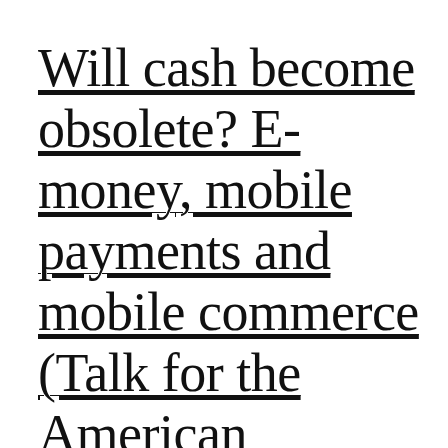Will cash become obsolete? E-money, mobile payments and mobile commerce (Talk for the American Chamber of Commerce in...